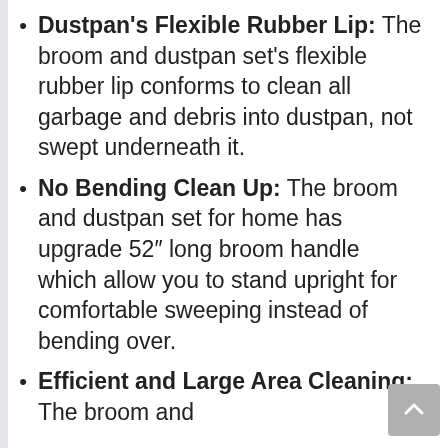Dustpan's Flexible Rubber Lip: The broom and dustpan set's flexible rubber lip conforms to clean all garbage and debris into dustpan, not swept underneath it.
No Bending Clean Up: The broom and dustpan set for home has upgrade 52″ long broom handle which allow you to stand upright for comfortable sweeping instead of bending over.
Efficient and Large Area Cleaning: The broom and